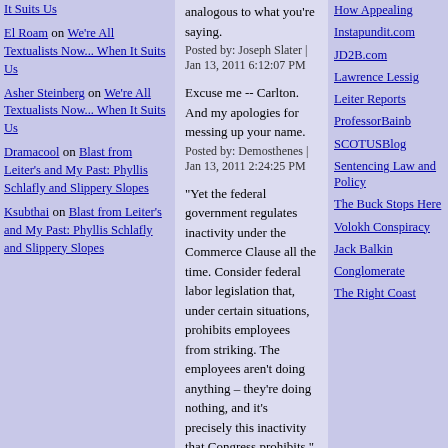It Suits Us
El Roam on We're All Textualists Now... When It Suits Us
Asher Steinberg on We're All Textualists Now... When It Suits Us
Dramacool on Blast from Leiter's and My Past: Phyllis Schlafly and Slippery Slopes
Ksubthai on Blast from Leiter's and My Past: Phyllis Schlafly and Slippery Slopes
analogous to what you're saying.
Posted by: Joseph Slater | Jan 13, 2011 6:12:07 PM
Excuse me -- Carlton. And my apologies for messing up your name.
Posted by: Demosthenes | Jan 13, 2011 2:24:25 PM
"Yet the federal government regulates inactivity under the Commerce Clause all the time. Consider federal labor legislation that, under certain situations, prohibits employees from striking. The employees aren't doing anything – they're doing nothing, and it's precisely this inactivity that Congress prohibits."
Congratulations on constructing a very subtle straw man. Of course activity (or some compensatory penalty) can be compelled from those who are inactive, at all levels of government. If it couldn't be, then how would we enforce payment of child support, for example? The point, however, is that the people who can be so compelled have assumed a duty,
How Appealing
Instapundit.com
JD2B.com
Lawrence Lessig
Leiter Reports
ProfessorBainb
SCOTUSBlog
Sentencing Law and Policy
The Buck Stops Here
Volokh Conspiracy
Jack Balkin
Conglomerate
The Right Coast